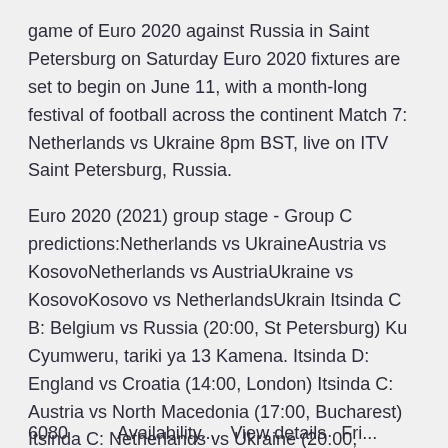game of Euro 2020 against Russia in Saint Petersburg on Saturday Euro 2020 fixtures are set to begin on June 11, with a month-long festival of football across the continent Match 7: Netherlands vs Ukraine 8pm BST, live on ITV Saint Petersburg, Russia.
Euro 2020 (2021) group stage - Group C predictions:Netherlands vs UkraineAustria vs KosovoNetherlands vs AustriaUkraine vs KosovoKosovo vs NetherlandsUkrain Itsinda C B: Belgium vs Russia (20:00, St Petersburg) Ku Cyumweru, tariki ya 13 Kamena. Itsinda D: England vs Croatia (14:00, London) Itsinda C: Austria vs North Macedonia (17:00, Bucharest) Itsinda C: Netherlands vs Ukraine (20:00, Amsterdam) Ku wa Mbere tariki ya 14 Kamena.
6080          Availability...   View details   Fri...